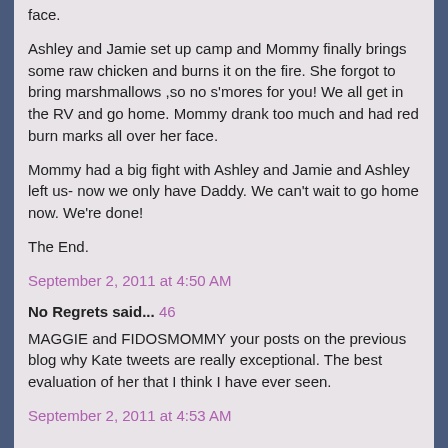face.
Ashley and Jamie set up camp and Mommy finally brings some raw chicken and burns it on the fire. She forgot to bring marshmallows ,so no s'mores for you! We all get in the RV and go home. Mommy drank too much and had red burn marks all over her face.
Mommy had a big fight with Ashley and Jamie and Ashley left us- now we only have Daddy. We can't wait to go home now. We're done!
The End.
September 2, 2011 at 4:50 AM
No Regrets said... 46
MAGGIE and FIDOSMOMMY your posts on the previous blog why Kate tweets are really exceptional. The best evaluation of her that I think I have ever seen.
September 2, 2011 at 4:53 AM